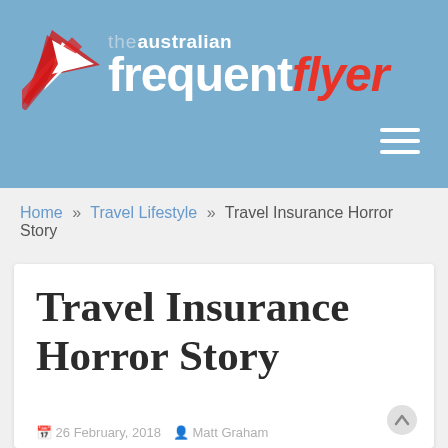[Figure (logo): The Australian Frequent Flyer logo with red arrow icon and text on blue background banner]
Home » Travel Lifestyle » Travel Insurance Horror Story
Travel Insurance Horror Story
26 February, 2018  Matt Graham